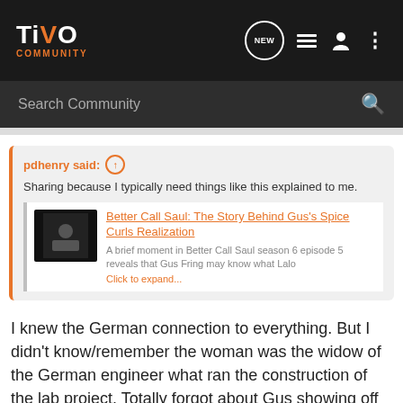[Figure (screenshot): TiVo Community website header with logo, NEW button, list icon, user icon, and more options icon]
[Figure (screenshot): Search Community search bar with magnifying glass icon]
pdhenry said: ↑
Sharing because I typically need things like this explained to me.
Better Call Saul: The Story Behind Gus's Spice Curls Realization
A brief moment in Better Call Saul season 6 episode 5 reveals that Gus Fring may know what Lalo
Click to expand...
I knew the German connection to everything. But I didn't know/remember the woman was the widow of the German engineer what ran the construction of the lab project. Totally forgot about Gus showing off the spicy curls to the Madrigal execs way back when.